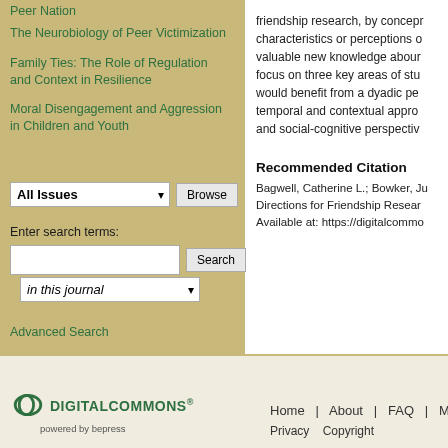Peer Nation
The Neurobiology of Peer Victimization
Family Ties: The Role of Regulation and Context in Resilience
Moral Disengagement and Aggression in Children and Youth
Select an issue:
All Issues
Browse
Enter search terms:
Search
in this journal
Advanced Search
friendship research, by conceptualizing characteristics or perceptions of valuable new knowledge about focus on three key areas of stu would benefit from a dyadic pe temporal and contextual appro and social-cognitive perspectiv
Recommended Citation
Bagwell, Catherine L.; Bowker, Ju
Directions for Friendship Resear
Available at: https://digitalcommo
Home | About | FAQ | My
Privacy   Copyright